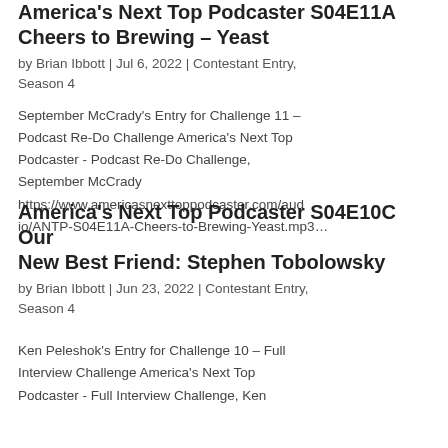America's Next Top Podcaster S04E11A Cheers to Brewing – Yeast
by Brian Ibbott | Jul 6, 2022 | Contestant Entry, Season 4
September McCrady's Entry for Challenge 11 – Podcast Re-Do Challenge America's Next Top Podcaster - Podcast Re-Do Challenge, September McCrady https://www.americasnexttoppodcaster.com/audio/ANTP-S04E11A-Cheers-to-Brewing-Yeast.mp3…
America's Next Top Podcaster S04E10C Our New Best Friend: Stephen Tobolowsky
by Brian Ibbott | Jun 23, 2022 | Contestant Entry, Season 4
Ken Peleshok's Entry for Challenge 10 – Full Interview Challenge America's Next Top Podcaster - Full Interview Challenge, Ken